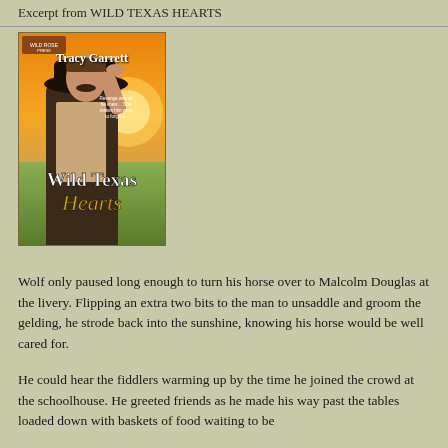Excerpt from WILD TEXAS HEARTS
[Figure (illustration): Book cover of 'Wild Texas Hearts' by Tracy Garrett, showing a cowboy in a hat against a sunset background with the title text.]
Wolf only paused long enough to turn his horse over to Malcolm Douglas at the livery. Flipping an extra two bits to the man to unsaddle and groom the gelding, he strode back into the sunshine, knowing his horse would be well cared for.
He could hear the fiddlers warming up by the time he joined the crowd at the schoolhouse. He greeted friends as he made his way past the tables loaded down with baskets of food waiting to be